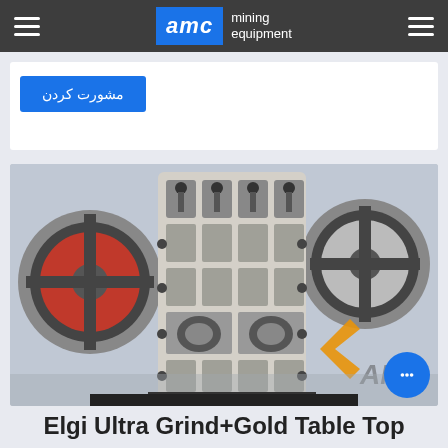AMC mining equipment
مشورت کردن
[Figure (photo): Industrial jaw crusher machine photographed from the front in a factory setting. A large grey structured metal plate with grid compartments is visible in the center, with red and grey flywheels on left and right sides. AMC logo with orange chevron visible in background.]
Elgi Ultra Grind+Gold Table Top